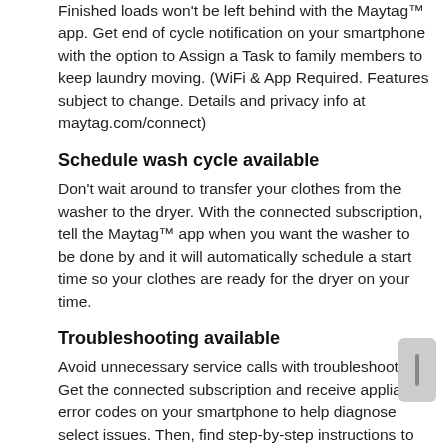Finished loads won't be left behind with the Maytag™ app. Get end of cycle notification on your smartphone with the option to Assign a Task to family members to keep laundry moving. (WiFi & App Required. Features subject to change. Details and privacy info at maytag.com/connect)
Schedule wash cycle available
Don't wait around to transfer your clothes from the washer to the dryer. With the connected subscription, tell the Maytag™ app when you want the washer to be done by and it will automatically schedule a start time so your clothes are ready for the dryer on your time.
Troubleshooting available
Avoid unnecessary service calls with troubleshooting. Get the connected subscription and receive appliance error codes on your smartphone to help diagnose select issues. Then, find step-by-step instructions to help solve the problem. (WiFi, App & Connected Subscription required. Features subject to change. Details & privacy info at maytag.com/connect.)
Specialty cycles available